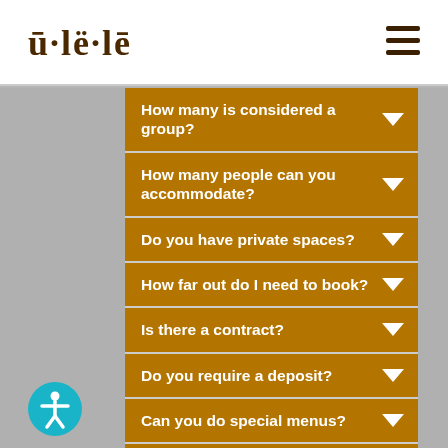ū·lë·lē
How many is considered a group?
How many people can you accommodate?
Do you have private spaces?
How far out do I need to book?
Is there a contract?
Do you require a deposit?
Can you do special menus?
Are there vegetarian, vegan and GF options?
Can I book a party and tour in